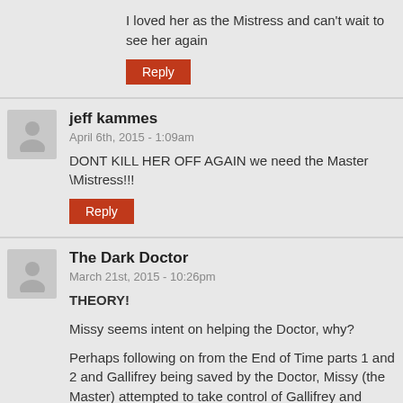I loved her as the Mistress and can't wait to see her again
Reply
jeff kammes
April 6th, 2015 - 1:09am
DONT KILL HER OFF AGAIN we need the Master \Mistress!!!
Reply
The Dark Doctor
March 21st, 2015 - 10:26pm
THEORY!
Missy seems intent on helping the Doctor, why?
Perhaps following on from the End of Time parts 1 and 2 and Gallifrey being saved by the Doctor, Missy (the Master) attempted to take control of Gallifrey and shape the planets future. But, evidently there would have been Daleks on Gallifrey when it was saved and so perhaps it